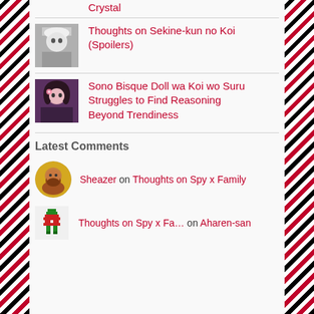Crystal
[Figure (photo): Manga character avatar - white/silver haired figure]
Thoughts on Sekine-kun no Koi (Spoilers)
[Figure (photo): Anime girl avatar with dark hair and flowers]
Sono Bisque Doll wa Koi wo Suru Struggles to Find Reasoning Beyond Trendiness
Latest Comments
[Figure (photo): User avatar - bearded man profile photo with yellow/gold background]
Sheazer on Thoughts on Spy x Family
[Figure (photo): Pixel art character avatar]
Thoughts on Spy x Fa... on Aharen-san